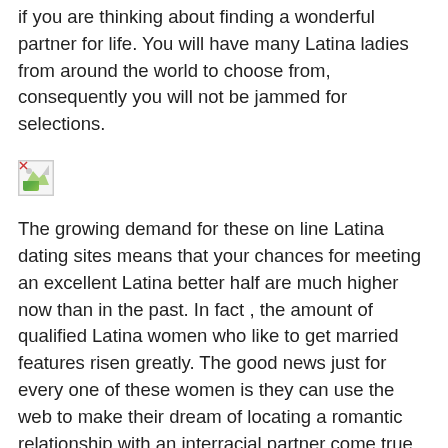if you are thinking about finding a wonderful partner for life. You will have many Latina ladies from around the world to choose from, consequently you will not be jammed for selections.
[Figure (photo): Broken/missing image placeholder icon]
The growing demand for these on line Latina dating sites means that your chances for meeting an excellent Latina better half are much higher now than in the past. In fact , the amount of qualified Latina women who like to get married features risen greatly. The good news just for every one of these women is they can use the web to make their dream of locating a romantic relationship with an interracial partner come true. They will easily find an associate from the comfort with their home while using click of an mouse.
The great thing about using Spanish online dating services is that you do not have to wait pertaining to